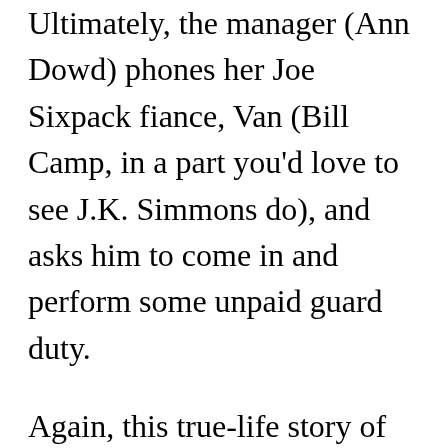Ultimately, the manager (Ann Dowd) phones her Joe Sixpack fiance, Van (Bill Camp, in a part you'd love to see J.K. Simmons do), and asks him to come in and perform some unpaid guard duty.
Again, this true-life story of credulousness strains credulity. You can't follow the characters to the end of the line, but you can